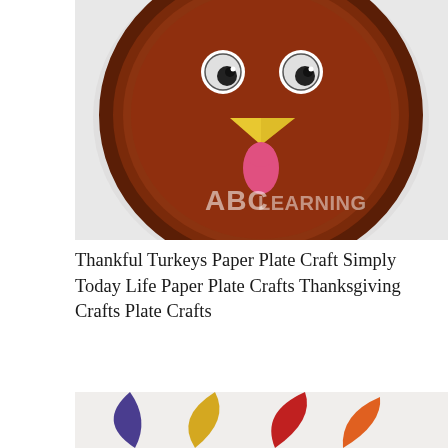[Figure (photo): A paper plate painted brown to look like a turkey face, with googly eyes, a yellow triangle beak, and a pink wattle, on a white background. Watermark reads 'ABC LEARNING'.]
Thankful Turkeys Paper Plate Craft Simply Today Life Paper Plate Crafts Thanksgiving Crafts Plate Crafts
[Figure (photo): Colorful paper feather cutouts arranged in a fan shape on a white background: purple, yellow/gold, red, and orange feathers.]